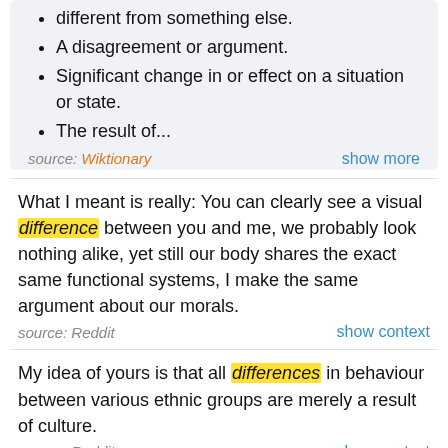different from something else.
A disagreement or argument.
Significant change in or effect on a situation or state.
The result of...
source: Wiktionary   show more
What I meant is really: You can clearly see a visual difference between you and me, we probably look nothing alike, yet still our body shares the exact same functional systems, I make the same argument about our morals.
source: Reddit   show context
My idea of yours is that all differences in behaviour between various ethnic groups are merely a result of culture.
source: Reddit   show context
Really shows how much of a difference there is between